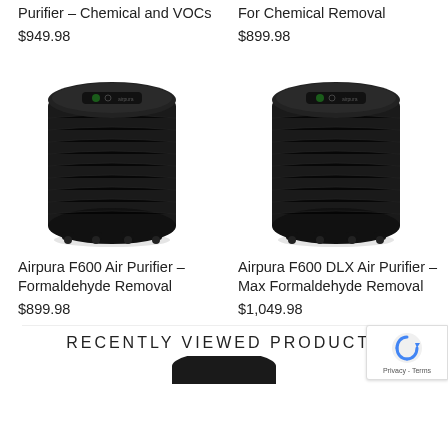Purifier – Chemical and VOCs
$949.98
For Chemical Removal
$899.98
[Figure (photo): Airpura F600 Air Purifier – black cylindrical air purifier on casters]
Airpura F600 Air Purifier – Formaldehyde Removal
$899.98
[Figure (photo): Airpura F600 DLX Air Purifier – black cylindrical air purifier on casters]
Airpura F600 DLX Air Purifier – Max Formaldehyde Removal
$1,049.98
RECENTLY VIEWED PRODUCTS
[Figure (photo): Partial view of an air purifier at bottom of page]